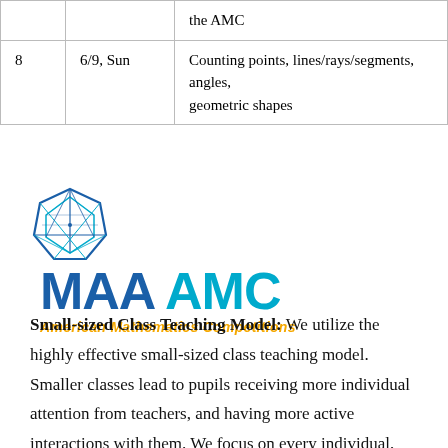|  |  |  |
| --- | --- | --- |
|  |  | the AMC |
| 8 | 6/9, Sun | Counting points, lines/rays/segments, angles, geometric shapes |
[Figure (logo): MAA AMC logo — American Mathematics Competitions — with geometric polyhedron icon]
Small-sized Class Teaching Model: We utilize the highly effective small-sized class teaching model. Smaller classes lead to pupils receiving more individual attention from teachers, and having more active interactions with them. We focus on every individual, not the whole class. Students will thrive from the smaller class sizes that allow them to reach their full potential. Particularly, students can benefit tremendously from high-frequent individualized student-